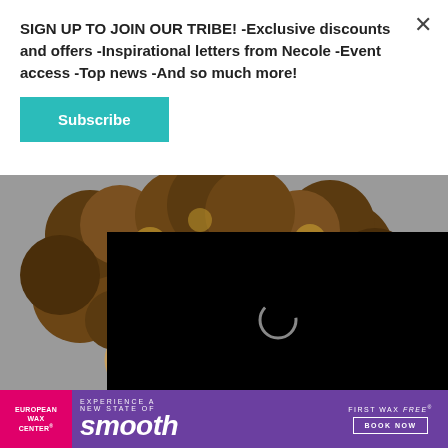SIGN UP TO JOIN OUR TRIBE! -Exclusive discounts and offers -Inspirational letters from Necole -Event access -Top news -And so much more!
Subscribe
[Figure (photo): Woman with curly highlighted afro hair against gray background, shown from shoulders up, with large hoop earring visible]
[Figure (screenshot): Black video player overlay with loading spinner in center]
[Figure (infographic): European Wax Center advertisement banner: pink left section with 'EUROPEAN WAX CENTER', purple center with 'EXPERIENCE A NEW STATE OF smooth', right section with 'FIRST WAX free BOOK NOW']